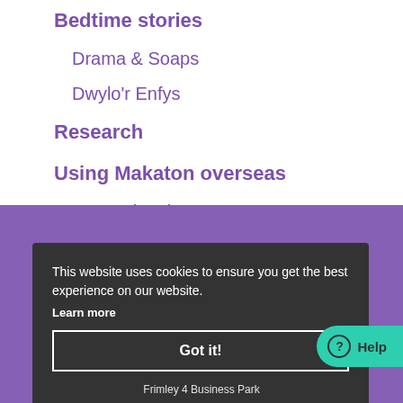Bedtime stories
Drama & Soaps
Dwylo'r Enfys
Research
Using Makaton overseas
International contacts
Frequently asked questions
This website uses cookies to ensure you get the best experience on our website.
Learn more
Got it!
Help
Frimley 4 Business Park